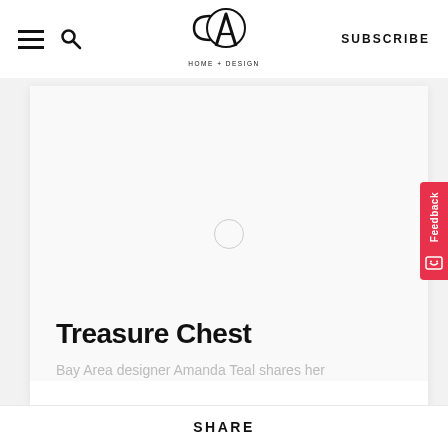[Figure (logo): CA Home + Design magazine logo — stylized C and A letterforms with 'HOME + DESIGN' text beneath]
[Figure (screenshot): White content card with image placeholder area showing a small circle play button in center, article title 'Treasure Chest' and beginning of subtitle text]
Treasure Chest
Bay Area designer Amanda Teal shares her
SHARE